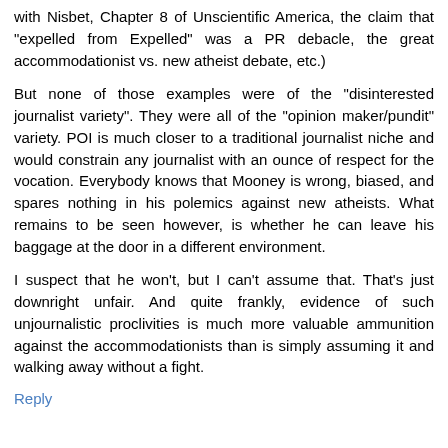with Nisbet, Chapter 8 of Unscientific America, the claim that "expelled from Expelled" was a PR debacle, the great accommodationist vs. new atheist debate, etc.)
But none of those examples were of the "disinterested journalist variety". They were all of the "opinion maker/pundit" variety. POI is much closer to a traditional journalist niche and would constrain any journalist with an ounce of respect for the vocation. Everybody knows that Mooney is wrong, biased, and spares nothing in his polemics against new atheists. What remains to be seen however, is whether he can leave his baggage at the door in a different environment.
I suspect that he won't, but I can't assume that. That's just downright unfair. And quite frankly, evidence of such unjournalistic proclivities is much more valuable ammunition against the accommodationists than is simply assuming it and walking away without a fight.
Reply